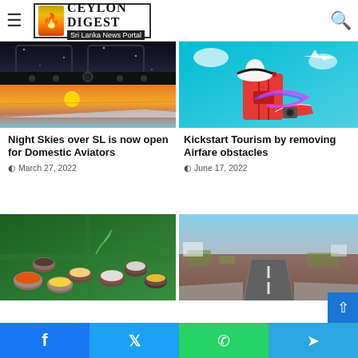Ceylon Digest — Sri Lanka News Portal
[Figure (photo): Airport cockpit interior at night above, plane wing at sunset below]
Night Skies over SL is now open for Domestic Aviators
March 27, 2022
[Figure (photo): Travel luggage, hat, sneakers and airplane on teal background illustration]
Kickstart Tourism by removing Airfare obstacles
June 17, 2022
[Figure (photo): Bowls of spices on green banana leaf]
[Figure (photo): Aerial view of an airport runway surrounded by brown terrain]